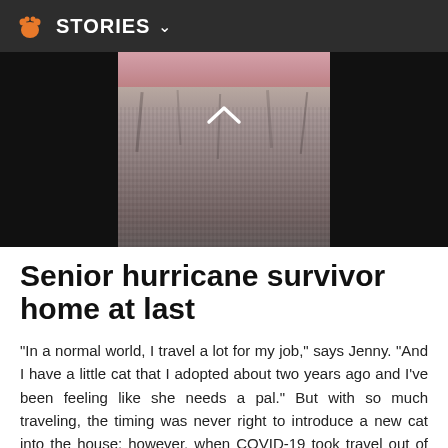STORIES
[Figure (photo): Close-up photograph of a cat, showing grey fur and pink skin area at top, with black background on sides]
Senior hurricane survivor home at last
“In a normal world, I travel a lot for my job,” says Jenny. “And I have a little cat that I adopted about two years ago and I’ve been feeling like she needs a pal.” But with so much traveling, the timing was never right to introduce a new cat into the house; however, when COVID-19 took travel out of the equation, Jenny saw the opportunity.